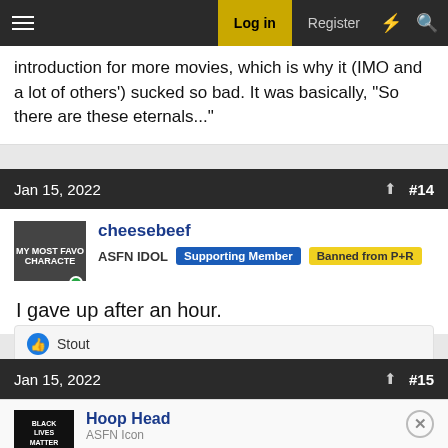Log in | Register
introduction for more movies, which is why it (IMO and a lot of others') sucked so bad. It was basically, "So there are these eternals..."
Jan 15, 2022  #14
cheesebeef
ASFN IDOL  Supporting Member  Banned from P+R
I gave up after an hour.
Stout
Jan 15, 2022  #15
Hoop Head
ASFN Icon